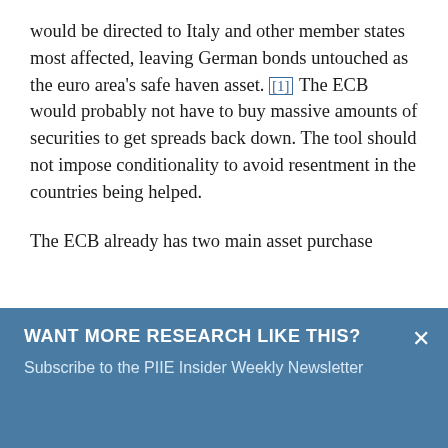would be directed to Italy and other member states most affected, leaving German bonds untouched as the euro area's safe haven asset. [1] The ECB would probably not have to buy massive amounts of securities to get spreads back down. The tool should not impose conditionality to avoid resentment in the countries being helped.
The ECB already has two main asset purchase
WANT MORE RESEARCH LIKE THIS?
Subscribe to the PIIE Insider Weekly Newsletter